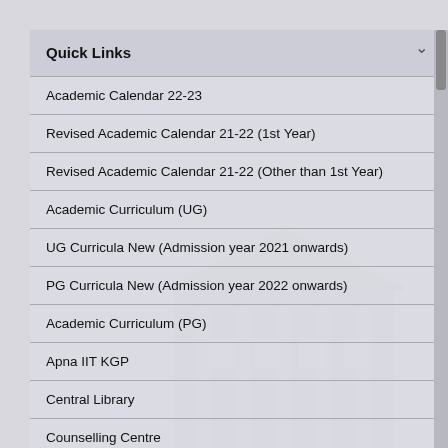Quick Links
Academic Calendar 22-23
Revised Academic Calendar 21-22 (1st Year)
Revised Academic Calendar 21-22 (Other than 1st Year)
Academic Curriculum (UG)
UG Curricula New (Admission year 2021 onwards)
PG Curricula New (Admission year 2022 onwards)
Academic Curriculum (PG)
Apna IIT KGP
Central Library
Counselling Centre
Degree Verification/ Transcripts/ Certificates